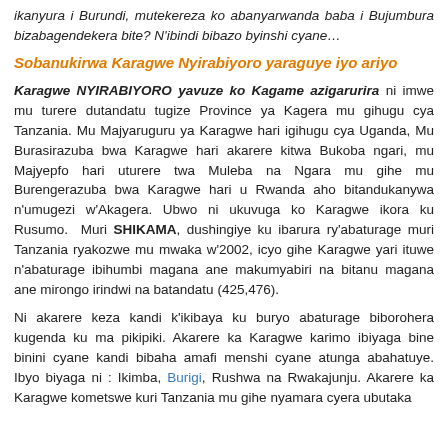ikanyura i Burundi, mutekereza ko abanyarwanda baba i Bujumbura bizabagendekera bite? N'ibindi bibazo byinshi cyane…
Sobanukirwa Karagwe Nyirabiyoro yaraguye iyo ariyo
Karagwe NYIRABIYORO yavuze ko Kagame azigarurira ni imwe mu turere dutandatu tugize Province ya Kagera mu gihugu cya Tanzania. Mu Majyaruguru ya Karagwe hari igihugu cya Uganda, Mu Burasirazuba bwa Karagwe hari akarere kitwa Bukoba ngari, mu Majyepfo hari uturere twa Muleba na Ngara mu gihe mu Burengerazuba bwa Karagwe hari u Rwanda aho bitandukanywa n'umugezi w'Akagera. Ubwo ni ukuvuga ko Karagwe ikora ku Rusumo. Muri SHIKAMA, dushingiye ku ibarura ry'abaturage muri Tanzania ryakozwe mu mwaka w'2002, icyo gihe Karagwe yari ituwe n'abaturage ibihumbi magana ane makumyabiri na bitanu magana ane mirongo irindwi na batandatu (425,476).
Ni akarere keza kandi k'ikibaya ku buryo abaturage biborohera kugenda ku ma pikipiki. Akarere ka Karagwe karimo ibiyaga bine binini cyane kandi bibaha amafi menshi cyane atunga abahatuye. Ibyo biyaga ni : Ikimba, Burigi, Rushwa na Rwakajunju. Akarere ka Karagwe kometswe kuri Tanzania mu gihe nyamara cyera ubutaka